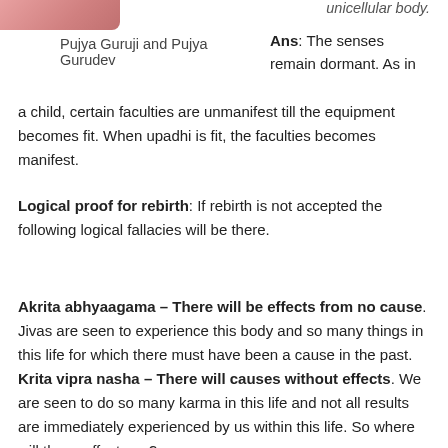[Figure (photo): Partial image of Pujya Guruji and Pujya Gurudev at top left corner]
unicellular body.
Pujya Guruji and Pujya Gurudev
Ans: The senses remain dormant. As in a child, certain faculties are unmanifest till the equipment becomes fit. When upadhi is fit, the faculties becomes manifest.
Logical proof for rebirth: If rebirth is not accepted the following logical fallacies will be there.
Akrita abhyaagama – There will be effects from no cause. Jivas are seen to experience this body and so many things in this life for which there must have been a cause in the past. Krita vipra nasha – There will causes without effects. We are seen to do so many karma in this life and not all results are immediately experienced by us within this life. So where will these effects go?